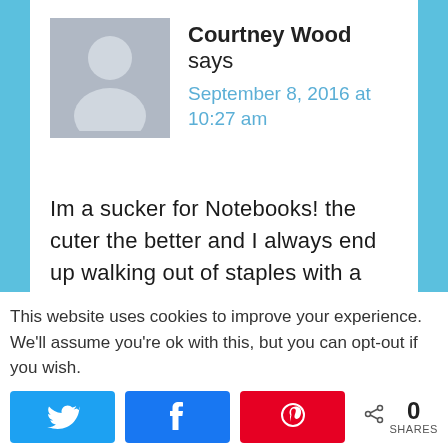[Figure (illustration): Grey avatar silhouette placeholder image for user Courtney Wood]
Courtney Wood says
September 8, 2016 at 10:27 am
Im a sucker for Notebooks! the cuter the better and I always end up walking out of staples with a new one.
Reply
This website uses cookies to improve your experience. We'll assume you're ok with this, but you can opt-out if you wish.
0 SHARES